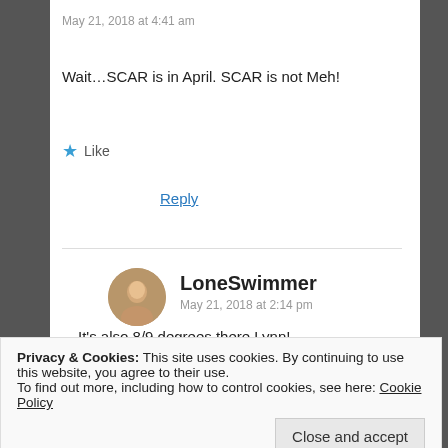May 21, 2018 at 4:41 am
Wait…SCAR is in April. SCAR is not Meh!
Like
Reply
[Figure (photo): Round avatar photo of LoneSwimmer]
LoneSwimmer
May 21, 2018 at 2:14 pm
It's also 8/9 degrees there Lynn!
Privacy & Cookies: This site uses cookies. By continuing to use this website, you agree to their use.
To find out more, including how to control cookies, see here: Cookie Policy
Close and accept